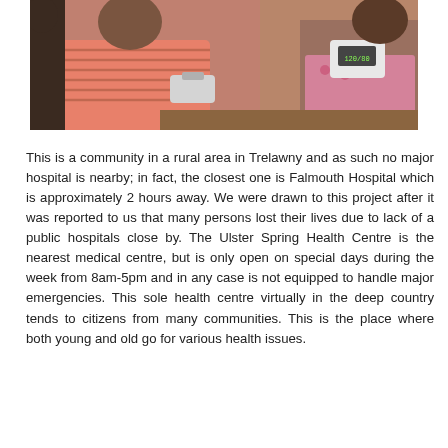[Figure (photo): A man in a pink striped polo shirt having his blood pressure measured by a healthcare worker. Another person is visible in the background.]
This is a community in a rural area in Trelawny and as such no major hospital is nearby; in fact, the closest one is Falmouth Hospital which is approximately 2 hours away. We were drawn to this project after it was reported to us that many persons lost their lives due to lack of a public hospitals close by. The Ulster Spring Health Centre is the nearest medical centre, but is only open on special days during the week from 8am-5pm and in any case is not equipped to handle major emergencies. This sole health centre virtually in the deep country tends to citizens from many communities. This is the place where both young and old go for various health issues.